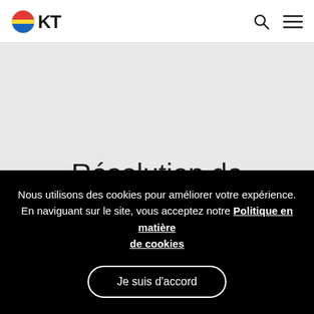GKT
Résolution de problèmes et prise de décisions
Nous utilisons des cookies pour améliorer votre expérience. En naviguant sur le site, vous acceptez notre Politique en matière de cookies
Je suis d'accord